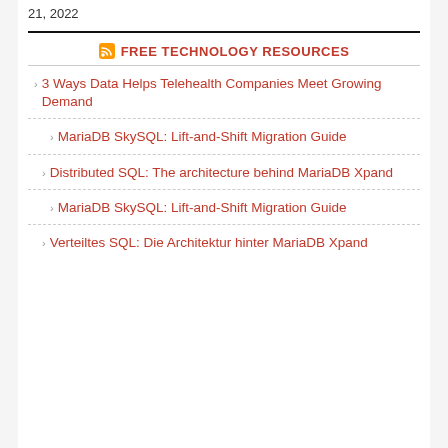21, 2022
FREE TECHNOLOGY RESOURCES
3 Ways Data Helps Telehealth Companies Meet Growing Demand
MariaDB SkySQL: Lift-and-Shift Migration Guide
Distributed SQL: The architecture behind MariaDB Xpand
MariaDB SkySQL: Lift-and-Shift Migration Guide
Verteiltes SQL: Die Architektur hinter MariaDB Xpand